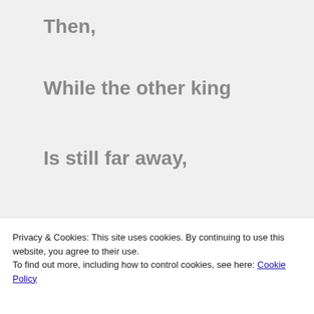Then,
While the other king
Is still far away,
He would send
A delegation,
A kind of...
Privacy & Cookies: This site uses cookies. By continuing to use this website, you agree to their use. To find out more, including how to control cookies, see here: Cookie Policy
Close and accept
εἰ δέ μήγε, ἔτι αὐτοῦ πόρρω ὄντος πρεσβείαν